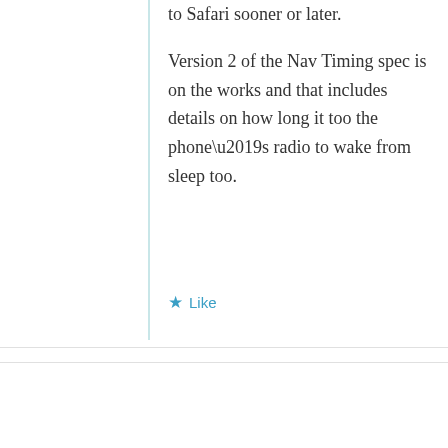to Safari sooner or later.
Version 2 of the Nav Timing spec is on the works and that includes details on how long it too the phone’s radio to wake from sleep too.
★ Like
Philip Tellis
November 20, 2012 at 7:14 am
We started measuring Real User Performance at Yahoo! back in 2005 and all the...